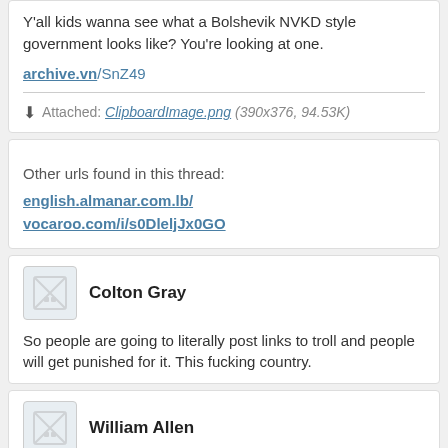Y'all kids wanna see what a Bolshevik NVKD style government looks like? You're looking at one.
archive.vn/SnZ49
Attached: ClipboardImage.png (390x376, 94.53K)
Other urls found in this thread:
english.almanar.com.lb/
vocaroo.com/i/s0DleljJx0GO
Colton Gray
So people are going to literally post links to troll and people will get punished for it. This fucking country.
William Allen
it's not terrorism, it's my religion. -t muslim